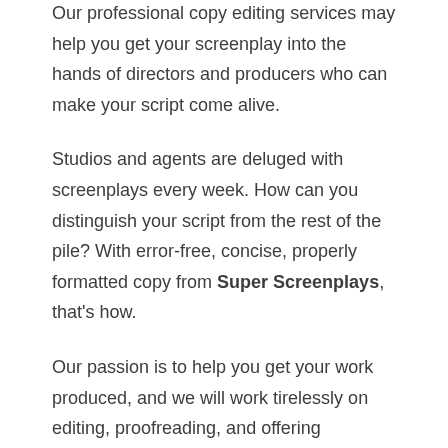Our professional copy editing services may help you get your screenplay into the hands of directors and producers who can make your script come alive.
Studios and agents are deluged with screenplays every week. How can you distinguish your script from the rest of the pile? With error-free, concise, properly formatted copy from Super Screenplays, that's how.
Our passion is to help you get your work produced, and we will work tirelessly on editing, proofreading, and offering suggestions for improving your script.
Why Hire a Copy Editor for Your Screenplay?